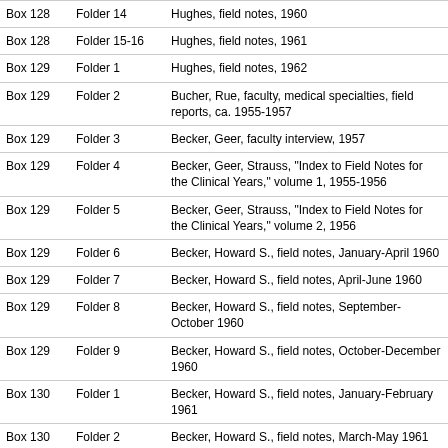| Box | Folder | Description |
| --- | --- | --- |
| Box 128 | Folder 14 | Hughes, field notes, 1960 |
| Box 128 | Folder 15-16 | Hughes, field notes, 1961 |
| Box 129 | Folder 1 | Hughes, field notes, 1962 |
| Box 129 | Folder 2 | Bucher, Rue, faculty, medical specialties, field reports, ca. 1955-1957 |
| Box 129 | Folder 3 | Becker, Geer, faculty interview, 1957 |
| Box 129 | Folder 4 | Becker, Geer, Strauss, "Index to Field Notes for the Clinical Years," volume 1, 1955-1956 |
| Box 129 | Folder 5 | Becker, Geer, Strauss, "Index to Field Notes for the Clinical Years," volume 2, 1956 |
| Box 129 | Folder 6 | Becker, Howard S., field notes, January-April 1960 |
| Box 129 | Folder 7 | Becker, Howard S., field notes, April-June 1960 |
| Box 129 | Folder 8 | Becker, Howard S., field notes, September-October 1960 |
| Box 129 | Folder 9 | Becker, Howard S., field notes, October-December 1960 |
| Box 130 | Folder 1 | Becker, Howard S., field notes, January-February 1961 |
| Box 130 | Folder 2 | Becker, Howard S., field notes, March-May 1961 |
| Box 130 | Folder 3 | Becker, Howard S., field notes, April-May 1961 |
| Box 130 | Folder 4-6 | Becker, Howard S., index to field notes, 1959-1961 |
| Box 130 | Folder 7 | Becker, Howard S., copyrighted 1959-1960... |